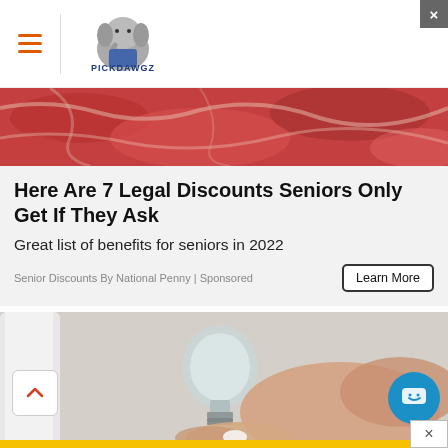PickDawgz (hamburger menu + logo)
[Figure (photo): Background image of raw red meat/food]
Here Are 7 Legal Discounts Seniors Only Get If They Ask
Great list of benefits for seniors in 2022
Senior Discounts By National Penny | Sponsored
[Figure (photo): Close-up photo of a hand squeezing liquid from a small glass/plastic bottle onto a finger, white background]